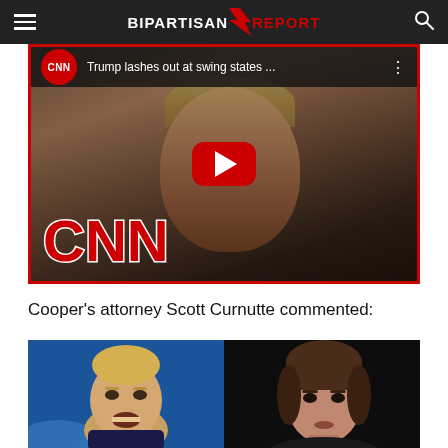BIPARTISAN REPORT
[Figure (screenshot): CNN YouTube video embed thumbnail showing Trump with title 'Trump lashes out at swing states ...' and large YouTube play button, CNN logo visible bottom-left]
Cooper's attorney Scott Curnutte commented:
[Figure (photo): Two side-by-side photos: left shows Trump speaking, right shows a woman (appears to be Nancy Pelosi) with dark background]